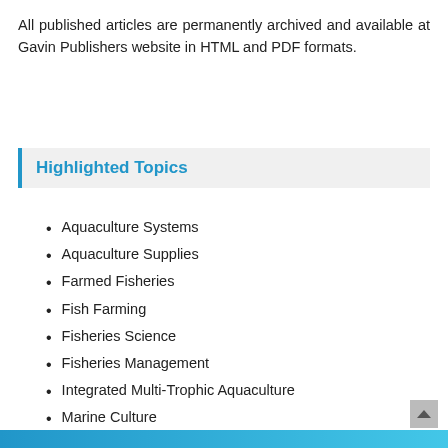All published articles are permanently archived and available at Gavin Publishers website in HTML and PDF formats.
Highlighted Topics
Aquaculture Systems
Aquaculture Supplies
Farmed Fisheries
Fish Farming
Fisheries Science
Fisheries Management
Integrated Multi-Trophic Aquaculture
Marine Culture
Marine Food
Ocean Fisheries
Oyster Farming